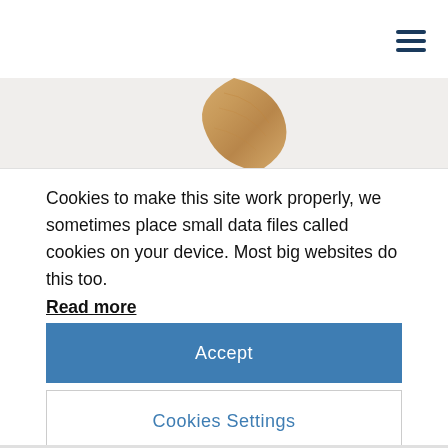[Figure (photo): Partial view of a wooden object with warm tan/beige wood grain texture, visible in upper-center portion of the image strip]
Cookies to make this site work properly, we sometimes place small data files called cookies on your device. Most big websites do this too.
Read more
Accept
Cookies Settings